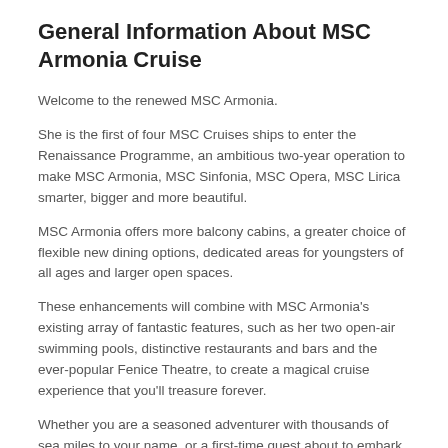General Information About MSC Armonia Cruise
Welcome to the renewed MSC Armonia.
She is the first of four MSC Cruises ships to enter the Renaissance Programme, an ambitious two-year operation to make MSC Armonia, MSC Sinfonia, MSC Opera, MSC Lirica smarter, bigger and more beautiful.
MSC Armonia offers more balcony cabins, a greater choice of flexible new dining options, dedicated areas for youngsters of all ages and larger open spaces.
These enhancements will combine with MSC Armonia's existing array of fantastic features, such as her two open-air swimming pools, distinctive restaurants and bars and the ever-popular Fenice Theatre, to create a magical cruise experience that you'll treasure forever.
Whether you are a seasoned adventurer with thousands of sea miles to your name, or a first-time guest about to embark on your